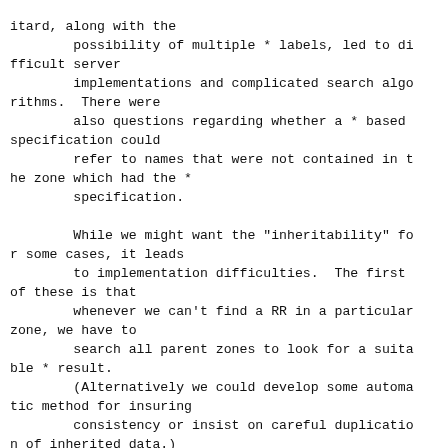itard, along with the
        possibility of multiple * labels, led to difficult server
        implementations and complicated search algorithms.  There were
        also questions regarding whether a * based specification could
        refer to names that were not contained in the zone which had the *
        specification.

        While we might want the "inheritability" for some cases, it leads
        to implementation difficulties.  The first of these is that
        whenever we can't find a RR in a particular zone, we have to
        search all parent zones to look for a suitable * result.
        (Alternatively we could develop some automatic method for insuring
        consistency or insist on careful duplication of inherited data.)